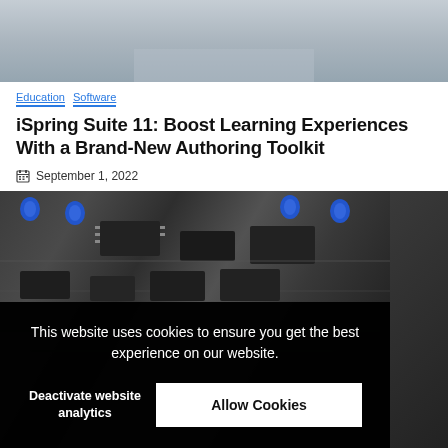[Figure (photo): Top portion of a photo showing two people, partially cropped, with a laptop]
Education  Software
iSpring Suite 11: Boost Learning Experiences With a Brand-New Authoring Toolkit
September 1, 2022
[Figure (photo): Close-up photo of a circuit board with blue capacitors and electronic components]
This website uses cookies to ensure you get the best experience on our website.
Deactivate website analytics
Allow Cookies